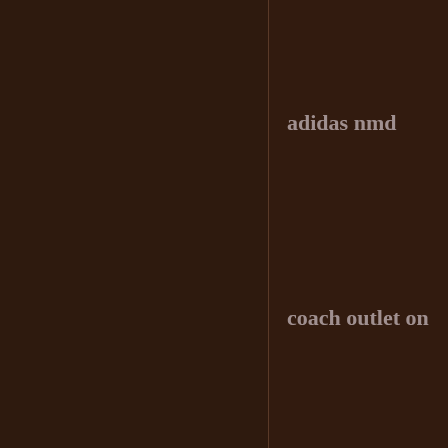adidas nmd
coach outlet on
christianloubo
salomon shoes
ugg boots for w on sale,ugg boo